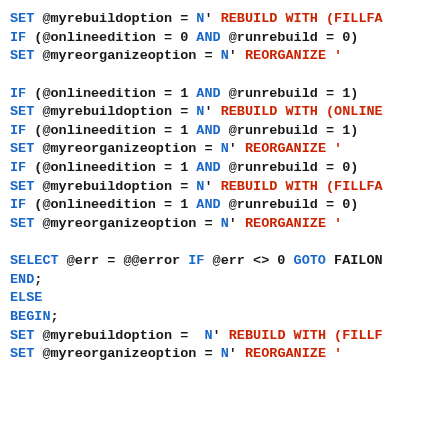SET @myrebuildoption = N' REBUILD WITH (FILLFA
IF (@onlineedition = 0 AND @runrebuild = 0)
SET @myreorganizeoption = N' REORGANIZE '

IF (@onlineedition = 1 AND @runrebuild = 1)
SET @myrebuildoption = N' REBUILD WITH (ONLINE
IF (@onlineedition = 1 AND @runrebuild = 1)
SET @myreorganizeoption = N' REORGANIZE '
IF (@onlineedition = 1 AND @runrebuild = 0)
SET @myrebuildoption = N' REBUILD WITH (FILLFA
IF (@onlineedition = 1 AND @runrebuild = 0)
SET @myreorganizeoption = N' REORGANIZE '

SELECT @err = @@error IF @err <> 0 GOTO FAILON
END;
ELSE
BEGIN;
SET @myrebuildoption =  N' REBUILD WITH (FILLF
SET @myreorganizeoption = N' REORGANIZE '